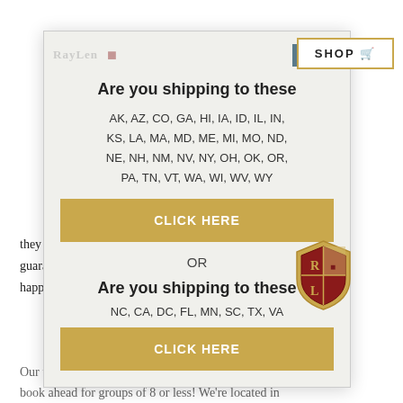[Figure (screenshot): RayLen Vineyards & Winery website header with logo, shield icon, hamburger menu, and SHOP button]
they can also be a lot of fun. By following these tips, you're guaranteed to find a menu that will leave your guests happy and excited to bring in the new year!
[Figure (screenshot): Modal popup overlay on RayLen website: 'Are you shipping to these' with state list AK, AZ, CO, GA, HI, IA, ID, IL, IN, KS, LA, MA, MD, ME, MI, MO, ND, NE, NH, NM, NV, NY, OH, OK, OR, PA, TN, VT, WA, WI, WV, WY and CLICK HERE button, then OR, then 'Are you shipping to these' with NC, CA, DC, FL, MN, SC, TX, VA and another CLICK HERE button. RayLen shield logo visible at bottom right of modal.]
Our tasting room is open 7 days a week—no need to book ahead for groups of 8 or less! We're located in